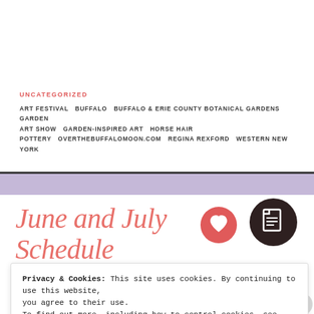UNCATEGORIZED
ART FESTIVAL  BUFFALO  BUFFALO & ERIE COUNTY BOTANICAL GARDENS  GARDEN ART SHOW  GARDEN-INSPIRED ART  HORSE HAIR POTTERY  OVERTHEBUFFALOMOON.COM  REGINA REXFORD  WESTERN NEW YORK
June and July Schedule
[Figure (other): Red heart icon with the number 0 in the center]
[Figure (other): Dark brown circular document/copy icon]
Privacy & Cookies: This site uses cookies. By continuing to use this website, you agree to their use. To find out more, including how to control cookies, see here: Cookie Policy
Close and accept